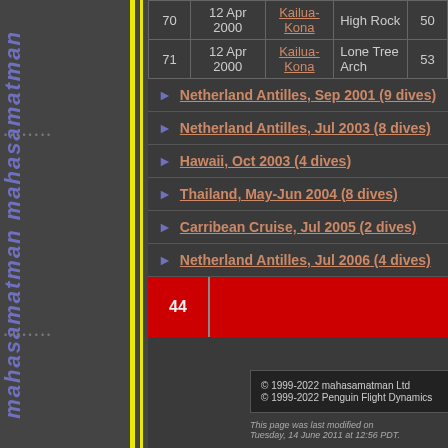| # | Date | Location | Site | Depth |
| --- | --- | --- | --- | --- |
| 70 | 12 Apr 2000 | Kailua-Kona | High Rock | 50 |
| 71 | 12 Apr 2000 | Kailua-Kona | Lone Tree Arch | 53 |
▶ Netherland Antilles, Sep 2001 (9 dives)
▶ Netherland Antilles, Jul 2003 (8 dives)
▶ Hawaii, Oct 2003 (4 dives)
▶ Thailand, May-Jun 2004 (8 dives)
▶ Carribean Cruise, Jul 2005 (2 dives)
▶ Netherland Antilles, Jul 2006 (4 dives)
© 1999-2022 mahasamatman Ltd
© 1999-2022 Penguin Flight Dynamics
This page was last modified on Tuesday, 14 June 2011 at 12:56 PDT.